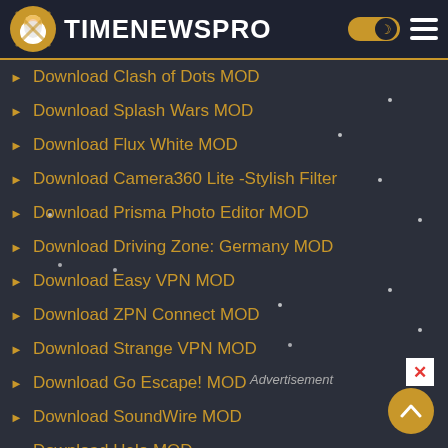TIMENEWSPRO
Download Clash of Dots MOD
Download Splash Wars MOD
Download Flux White MOD
Download Camera360 Lite -Stylish Filter
Download Prisma Photo Editor MOD
Download Driving Zone: Germany MOD
Download Easy VPN MOD
Download ZPN Connect MOD
Download Strange VPN MOD
Download Go Escape! MOD
Download SoundWire MOD
Download Helo MOD
Download Ocean Is Home MOD